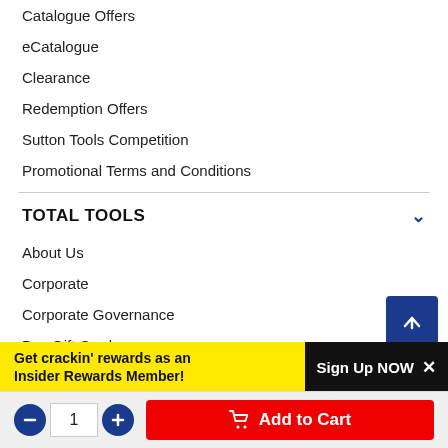Catalogue Offers
eCatalogue
Clearance
Redemption Offers
Sutton Tools Competition
Promotional Terms and Conditions
TOTAL TOOLS
About Us
Corporate
Corporate Governance
Buy Gift Cards
Franchise Enquiries
Terms & Conditions
Privacy Policy
Get crackin' rewards as an Insider Rewards Member!
Sign Up NOW ×